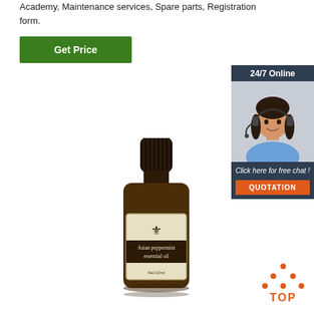Academy, Maintenance services, Spare parts, Registration form.
Get Price
[Figure (infographic): 24/7 Online chat box with customer support agent photo, 'Click here for free chat!' text, and orange QUOTATION button]
[Figure (photo): Bottle of Asian peppermint essential oil, 10ml, with cream label and fleur-de-lis emblem]
[Figure (infographic): TOP button icon with orange dots forming a triangle above the word TOP]